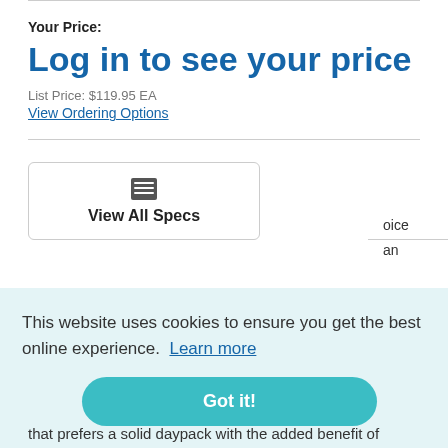Your Price:
Log in to see your price
List Price: $119.95 EA
View Ordering Options
[Figure (other): View All Specs button with table icon inside a bordered box]
This website uses cookies to ensure you get the best online experience. Learn more
Got it!
that prefers a solid daypack with the added benefit of